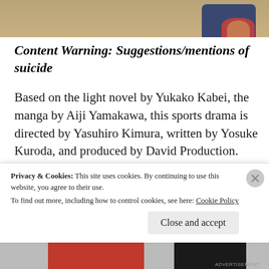[Figure (illustration): Partial screenshot of an anime character from the upper portion of the page — shows a figure against a wooden/tan background]
Content Warning: Suggestions/mentions of suicide
Based on the light novel by Yukako Kabei, the manga by Aiji Yamakawa, this sports drama is directed by Yasuhiro Kimura, written by Yosuke Kuroda, and produced by David Production. While you may wonder if you are getting a similar experience as the smash hit Haikyuu, well, you are not. This is a more grounded male-centric sports drama about
Privacy & Cookies: This site uses cookies. By continuing to use this website, you agree to their use.
To find out more, including how to control cookies, see here: Cookie Policy
Close and accept